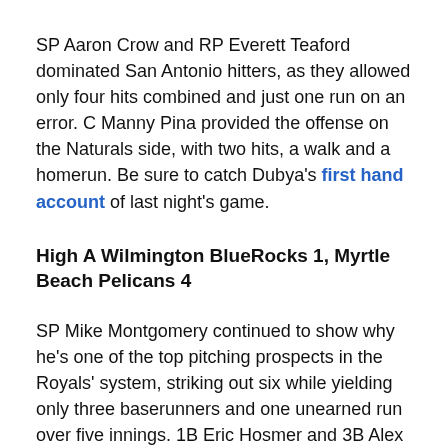SP Aaron Crow and RP Everett Teaford dominated San Antonio hitters, as they allowed only four hits combined and just one run on an error. C Manny Pina provided the offense on the Naturals side, with two hits, a walk and a homerun. Be sure to catch Dubya's first hand account of last night's game.
High A Wilmington BlueRocks 1, Myrtle Beach Pelicans 4
SP Mike Montgomery continued to show why he's one of the top pitching prospects in the Royals' system, striking out six while yielding only three baserunners and one unearned run over five innings. 1B Eric Hosmer and 3B Alex Gordon each collected a hit and a walk. Not particularly impressive, but looked like a